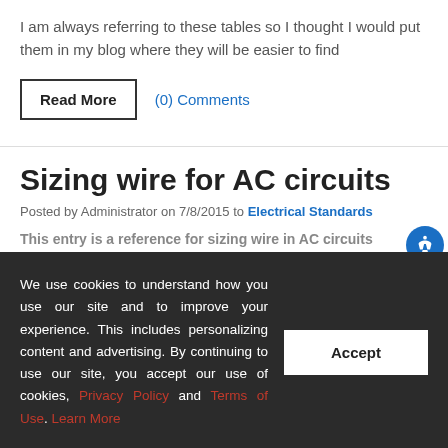I am always referring to these tables so I thought I would put them in my blog where they will be easier to find
Read More
(0) Comments
Sizing wire for AC circuits
Posted by Administrator on 7/8/2015 to Electrical Standards
This entry is a reference for sizing wire in AC circuits
We use cookies to understand how you use our site and to improve your experience. This includes personalizing content and advertising. By continuing to use our site, you accept our use of cookies, Privacy Policy and Terms of Use. Learn More